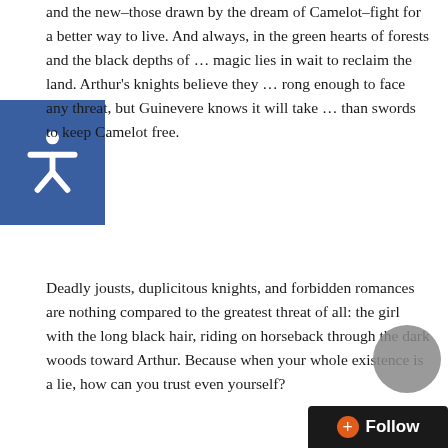and the new–those drawn by the dream of Camelot–fight for a better way to live. And always, in the green hearts of forests and the black depths of … magic lies in wait to reclaim the land. Arthur's knights believe they … rong enough to face any threat, but Guinevere knows it will take … than swords to keep Camelot free.
Deadly jousts, duplicitous knights, and forbidden romances are nothing compared to the greatest threat of all: the girl with the long black hair, riding on horseback through the dark woods toward Arthur. Because when your whole existence is a lie, how can you trust even yourself?
My Review
THIS is the female-centered Arthur retelling that I've been waiting for. I remember loving the idea of taking the legend of King Arthur and retelling it from a female point-of-view when I first heard about the book CURSED by Thomas Wheeler. CURSED tells the story of Arthur's rise from the point-of-view of a Druid woman who becomes the Lady of the Lake. It was a cool book, cool idea, but the level of violence and focus…